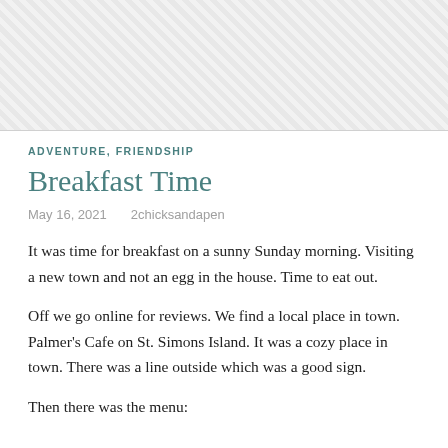[Figure (photo): Image placeholder with diagonal hatching pattern]
ADVENTURE, FRIENDSHIP
Breakfast Time
May 16, 2021    2chicksandapen
It was time for breakfast on a sunny Sunday morning. Visiting a new town and not an egg in the house. Time to eat out.
Off we go online for reviews. We find a local place in town. Palmer's Cafe on St. Simons Island. It was a cozy place in town. There was a line outside which was a good sign.
Then there was the menu: